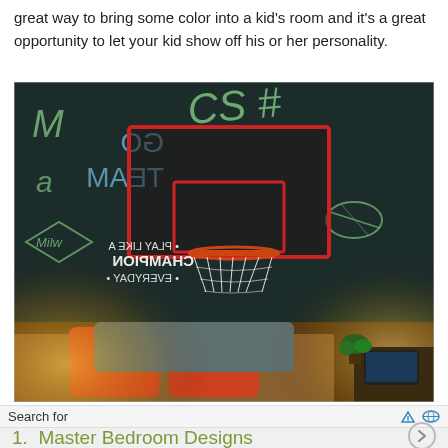great way to bring some color into a kid's room and it's a great opportunity to let your kid show off his or her personality.
[Figure (photo): A child's bedroom with a dark chalkboard-painted wall featuring a basketball hoop mounted on it, sports-themed chalk drawings and text including 'GO TEAM' and 'PLAY LIKE A CHAMPION EVERYDAY', orange and grey pillows on a bed, and a lamp on a nightstand.]
Search for
1.  Master Bedroom Designs